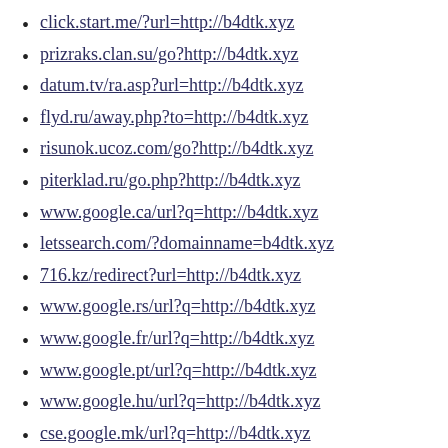click.start.me/?url=http://b4dtk.xyz
prizraks.clan.su/go?http://b4dtk.xyz
datum.tv/ra.asp?url=http://b4dtk.xyz
flyd.ru/away.php?to=http://b4dtk.xyz
risunok.ucoz.com/go?http://b4dtk.xyz
piterklad.ru/go.php?http://b4dtk.xyz
www.google.ca/url?q=http://b4dtk.xyz
letssearch.com/?domainname=b4dtk.xyz
716.kz/redirect?url=http://b4dtk.xyz
www.google.rs/url?q=http://b4dtk.xyz
www.google.fr/url?q=http://b4dtk.xyz
www.google.pt/url?q=http://b4dtk.xyz
www.google.hu/url?q=http://b4dtk.xyz
cse.google.mk/url?q=http://b4dtk.xyz
www.google.si/url?q=http://b4dtk.xyz
cse.google.ki/url?q=http://b4dtk.xyz
www.google.sn/url?q=http://b4dtk.xyz
www.google.cf/url?q=http://b4dtk.xyz
www.google.ki/url?q=http://b4dtk.xyz